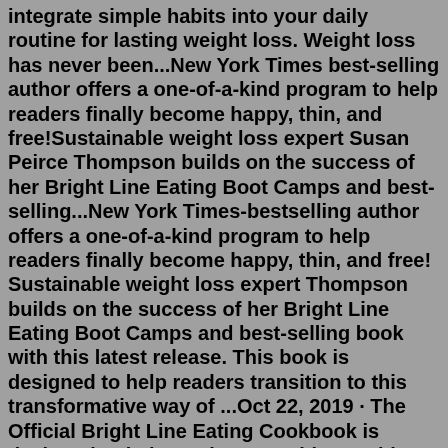integrate simple habits into your daily routine for lasting weight loss. Weight loss has never been...New York Times best-selling author offers a one-of-a-kind program to help readers finally become happy, thin, and free!Sustainable weight loss expert Susan Peirce Thompson builds on the success of her Bright Line Eating Boot Camps and best-selling...New York Times-bestselling author offers a one-of-a-kind program to help readers finally become happy, thin, and free! Sustainable weight loss expert Thompson builds on the success of her Bright Line Eating Boot Camps and best-selling book with this latest release. This book is designed to help readers transition to this transformative way of ...Oct 22, 2019 · The Official Bright Line Eating Cookbook is designed to help readers transition to this transformative way of life as smoothly and solidly as possible. The first book gave explicit instructions as to what the guidelines for each meal are, but no specific suggestions as to what to actually cook. The Official Bright Line Eating